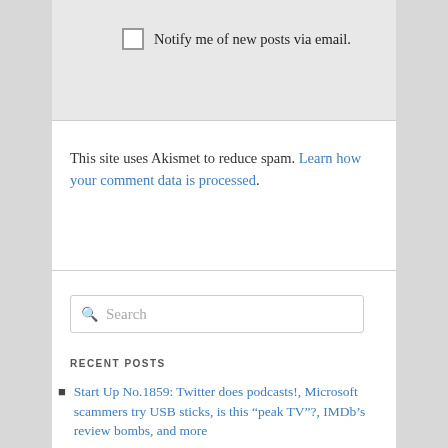Notify me of new posts via email.
This site uses Akismet to reduce spam. Learn how your comment data is processed.
Search
RECENT POSTS
Start Up No.1859: Twitter does podcasts!, Microsoft scammers try USB sticks, is this “peak TV”?, IMDb’s review bombs, and more
Start Up No.1858: Japan likes nuclear again, Twitter v Musk (and the Chinese), California to ban fuel cars, AI rapper dumped, and more
Start Up No.1857: Twitter hit by ex-security chief’s claims, why Google research is a bad idea, Europe’s spyware boom, and more
Start Up No.1856: Google’s CSA missteps, AI-